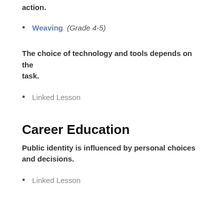action.
Weaving (Grade 4-5)
The choice of technology and tools depends on the task.
Linked Lesson
Career Education
Public identity is influenced by personal choices and decisions.
Linked Lesson